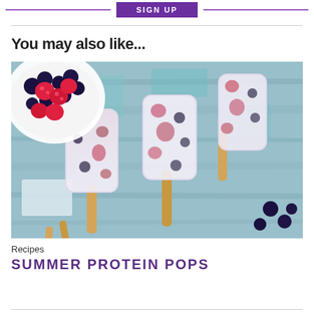SIGN UP
You may also like...
[Figure (photo): Berry protein popsicles with raspberries and blueberries on a rustic wooden background, with a bowl of mixed berries in the upper left corner.]
Recipes
SUMMER PROTEIN POPS